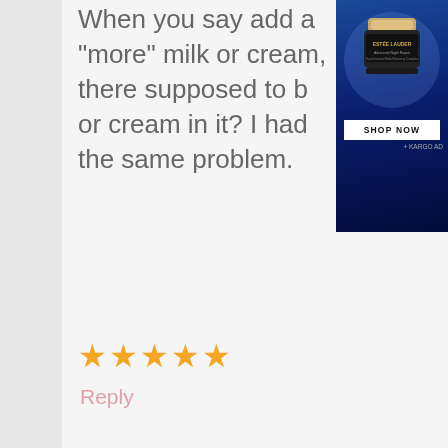When you say add a “more” milk or cream, there supposed to be or cream in it? I had the same problem.
[Figure (other): Estee Lauder advertisement with a cream jar product on dark blue background with 'SHOP NOW' button and Kargo Ad label]
★★★★★
Reply
[Figure (other): Accessibility icon - blue circle with white person figure inside]
Melissa says
November 1, 2014 at 3:07 pm
Oops, supposed to be Melissa. Anyway, I tried